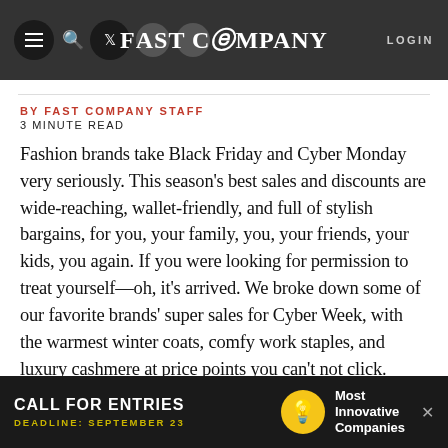FAST COMPANY | LOGIN
BY FAST COMPANY STAFF
3 MINUTE READ
Fashion brands take Black Friday and Cyber Monday very seriously. This season's best sales and discounts are wide-reaching, wallet-friendly, and full of stylish bargains, for you, your family, you, your friends, your kids, you again. If you were looking for permission to treat yourself—oh, it's arrived. We broke down some of our favorite brands' super sales for Cyber Week, with the warmest winter coats, comfy work staples, and luxury cashmere at price points you can't not click.
[Figure (screenshot): Ad banner: CALL FOR ENTRIES – DEADLINE: SEPTEMBER 23 – Most Innovative Companies]